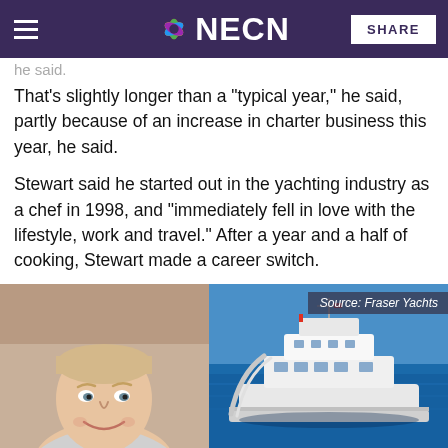NECN
he said.
That's slightly longer than a "typical year," he said, partly because of an increase in charter business this year, he said.
Stewart said he started out in the yachting industry as a chef in 1998, and "immediately fell in love with the lifestyle, work and travel." After a year and a half of cooking, Stewart made a career switch.
[Figure (photo): Left: headshot of a smiling man outdoors. Right: aerial view of a large yacht on blue ocean water with a slide. Source label reads 'Source: Fraser Yachts'.]